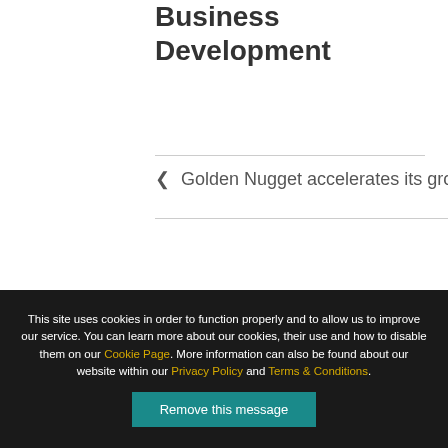Business Development
« Golden Nugget accelerates its growth landsca
This site uses cookies in order to function properly and to allow us to improve our service. You can learn more about our cookies, their use and how to disable them on our Cookie Page. More information can also be found about our website within our Privacy Policy and Terms & Conditions.
Remove this message